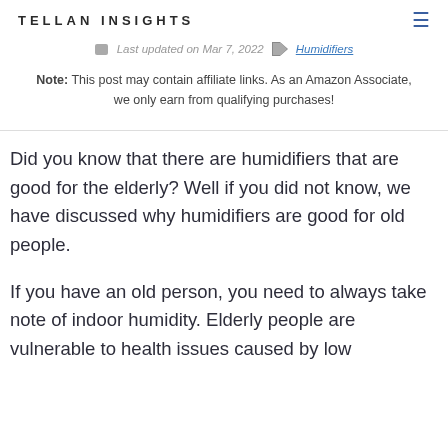TELLAN INSIGHTS
Last updated on Mar 7, 2022  Humidifiers
Note: This post may contain affiliate links. As an Amazon Associate, we only earn from qualifying purchases!
Did you know that there are humidifiers that are good for the elderly? Well if you did not know, we have discussed why humidifiers are good for old people.
If you have an old person, you need to always take note of indoor humidity. Elderly people are vulnerable to health issues caused by low